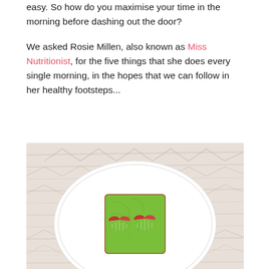easy. So how do you maximise your time in the morning before dashing out the door?
We asked Rosie Millen, also known as Miss Nutritionist, for the five things that she does every single morning, in the hopes that we can follow in her healthy footsteps...
[Figure (photo): A white plate on a light wooden background with a slice of toast spread with green avocado, topped with two heart-shaped strawberry slices.]